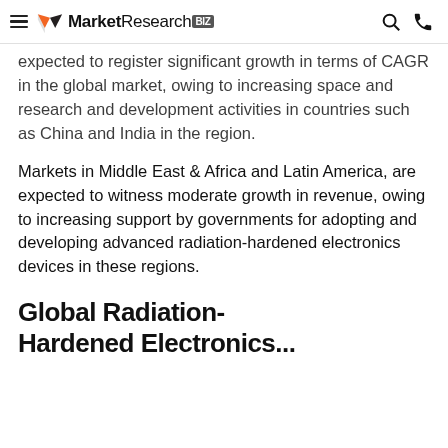MarketResearch.biz
expected to register significant growth in terms of CAGR in the global market, owing to increasing space and research and development activities in countries such as China and India in the region.
Markets in Middle East & Africa and Latin America, are expected to witness moderate growth in revenue, owing to increasing support by governments for adopting and developing advanced radiation-hardened electronics devices in these regions.
Global Radiation-Hardened Electronics...